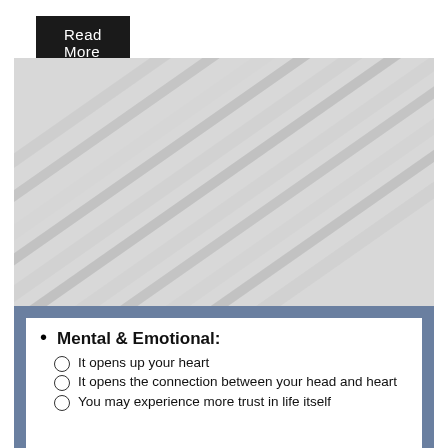Read More
[Figure (photo): Close-up photo of diagonal ridged or ribbed light grey textured surface, slightly blurred, showing parallel grooves running diagonally.]
Mental & Emotional:
It opens up your heart
It opens the connection between your head and heart
You may experience more trust in life itself